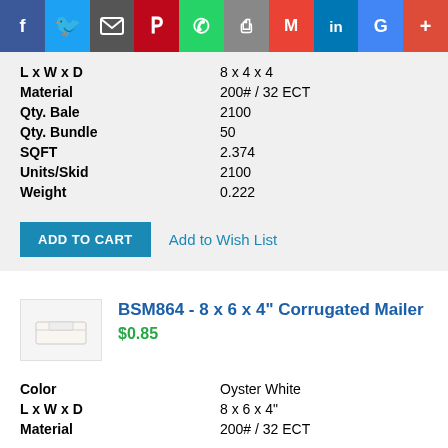[Figure (screenshot): Social media sharing bar with icons: Facebook, Twitter, Email, Pinterest, WhatsApp, Print, Gmail, LinkedIn, Google, Plus]
| L x W x D | 8 x 4 x 4 |
| Material | 200# / 32 ECT |
| Qty. Bale | 2100 |
| Qty. Bundle | 50 |
| SQFT | 2.374 |
| Units/Skid | 2100 |
| Weight | 0.222 |
ADD TO CART  Add to Wish List
BSM864 - 8 x 6 x 4" Corrugated Mailer
$0.85
| Color | Oyster White |
| L x W x D | 8 x 6 x 4" |
| Material | 200# / 32 ECT |